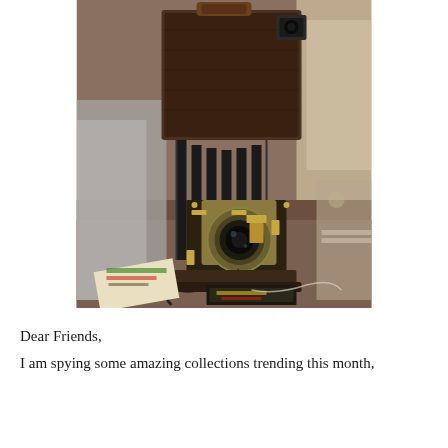[Figure (photo): An antique folding bellows camera with intricate brass fittings and a circular lens, placed among vintage items and papers at what appears to be a flea market or antique sale. The camera is brown and black with aged metal components.]
Dear Friends,
I am spying some amazing collections trending this month,